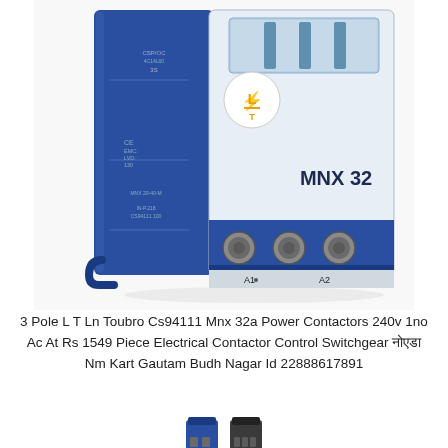[Figure (photo): Product photo of L&T MNX 32 power contactor — blue and white electrical contactor device with three terminal screws labeled 2/T1, 4/T2, 6/T3 and coil terminals A1, A2 at the bottom. L&T logo visible on front face, model number MNX 32 printed on white body.]
3 Pole L T Ln Toubro Cs94111 Mnx 32a Power Contactors 240v 1no Ac At Rs 1549 Piece Electrical Contactor Control Switchgear नोएडा Nm Kart Gautam Budh Nagar Id 22888617891
[Figure (photo): Two small images of auxiliary contact blocks / add-on contacts for the MNX contactor, shown at the bottom of the page, partially cut off.]